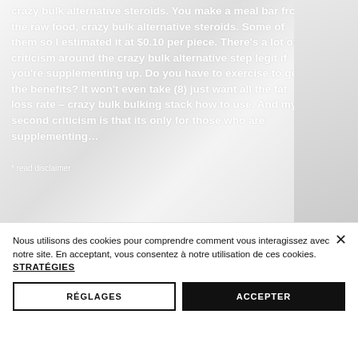[Figure (screenshot): Marble textured background with white bold text discussing crazy bulk alternative steroids, supplement use, and benefits. Right side has a darker marble panel.]
Nous utilisons des cookies pour comprendre comment vous interagissez avec notre site. En acceptant, vous consentez à notre utilisation de ces cookies. STRATÉGIES
RÉGLAGES
ACCEPTER